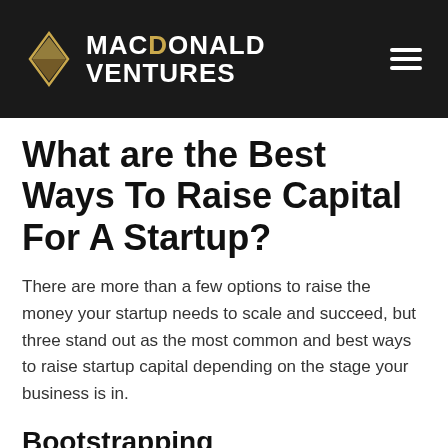MACDONALD VENTURES
What are the Best Ways To Raise Capital For A Startup?
There are more than a few options to raise the money your startup needs to scale and succeed, but three stand out as the most common and best ways to raise startup capital depending on the stage your business is in.
Bootstrapping